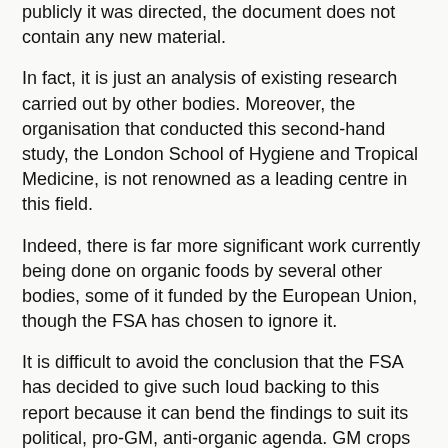publicly it was directed, the document does not contain any new material.
In fact, it is just an analysis of existing research carried out by other bodies. Moreover, the organisation that conducted this second-hand study, the London School of Hygiene and Tropical Medicine, is not renowned as a leading centre in this field.
Indeed, there is far more significant work currently being done on organic foods by several other bodies, some of it funded by the European Union, though the FSA has chosen to ignore it.
It is difficult to avoid the conclusion that the FSA has decided to give such loud backing to this report because it can bend the findings to suit its political, pro-GM, anti-organic agenda. GM crops
What is to be discussed is that the impact on security and site of